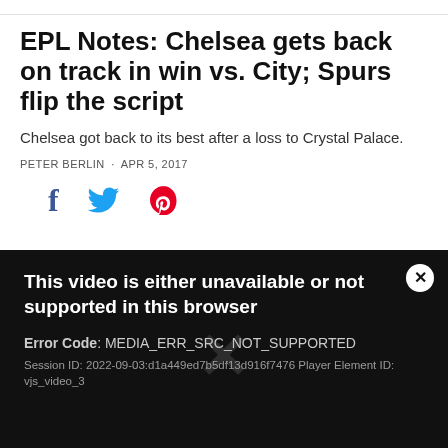EPL Notes: Chelsea gets back on track in win vs. City; Spurs flip the script
Chelsea got back to its best after a loss to Crystal Palace.
PETER BERLIN · APR 5, 2017
[Figure (other): Social share icons: Facebook (f), Twitter (bird), Pinterest (p)]
[Figure (screenshot): Video error message on black background: 'This video is either unavailable or not supported in this browser'. Error Code: MEDIA_ERR_SRC_NOT_SUPPORTED. Session ID: 2022-09-03:d1a449ed7b5df13d916f7476 Player Element ID: vjs_video_3]